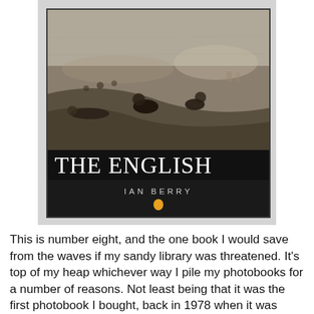[Figure (photo): Book cover of 'The English' by Ian Berry (Penguin), showing a black and white photograph of people resting on a grassy hillside with a town visible in the background. The cover has large white title text 'THE ENGLISH' and author name 'IAN BERRY' below it, with the Penguin Books logo.]
This is number eight, and the one book I would save from the waves if my sandy library was threatened. It's top of my heap whichever way I pile my photobooks for a number of reasons. Not least being that it was the first photobook I bought, back in 1978 when it was published. I guess I found out about it through one of the magazines I used to buy at the time - the weekly Amateur Photographer and  monthly